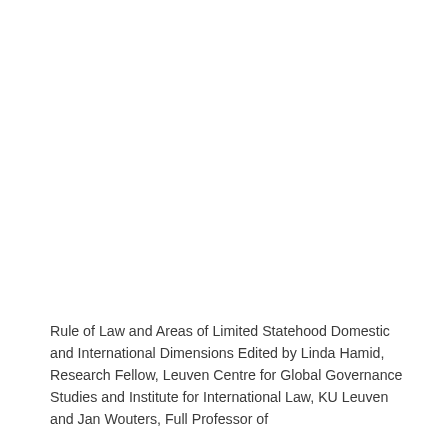Rule of Law and Areas of Limited Statehood Domestic and International Dimensions Edited by Linda Hamid, Research Fellow, Leuven Centre for Global Governance Studies and Institute for International Law, KU Leuven and Jan Wouters, Full Professor of